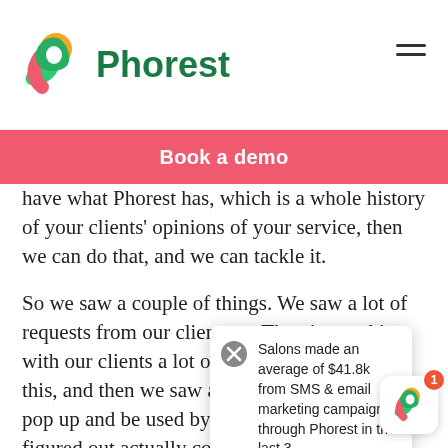[Figure (logo): Phorest logo with colorful P icon and green Phorest text]
Book a demo
have what Phorest has, which is a whole history of your clients' opinions of your service, then we can do that, and we can tackle it.
So we saw a couple of things. We saw a lot of requests from our clients … Then in speaking with our clients a lot of them were telling us this, and then we saw a lot of tools starting to pop up and be used by clients, which we've figured out actually could be a simple addition to Phorest which … to our customers. Wi… on in data. We know…
Salons made an average of $41.8k from SMS & email marketing campaigns through Phorest in the last 3...
Killian Vigna: … like it's not like we just came up with the idea, this feature, like